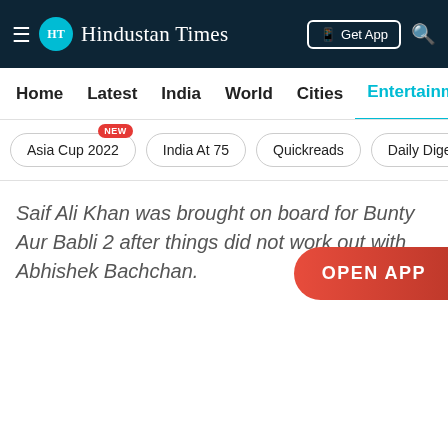Hindustan Times
Home | Latest | India | World | Cities | Entertainment
Asia Cup 2022 NEW | India At 75 | Quickreads | Daily Dige
Saif Ali Khan was brought on board for Bunty Aur Babli 2 after things did not work out with Abhishek Bachchan.